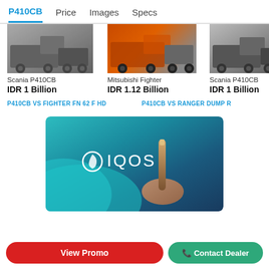P410CB | Price | Images | Specs
Scania P410CB
IDR 1 Billion
Mitsubishi Fighter
IDR 1.12 Billion
Scania P410CB
IDR 1 Billion
Hino Ra
P410CB VS FIGHTER FN 62 F HD
P410CB VS RANGER DUMP R
[Figure (photo): IQOS advertisement banner with teal/blue gradient background showing IQOS logo and a device being held]
View Promo
Contact Dealer